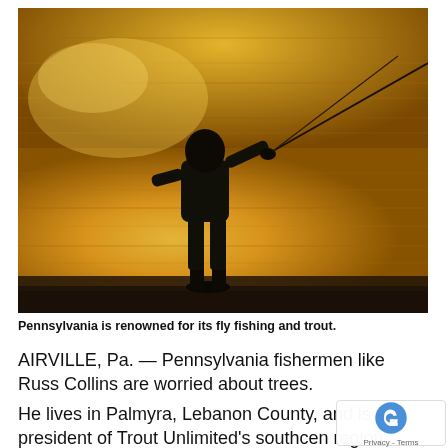[Figure (photo): Silhouette of a person fly fishing at golden hour, standing in water casting a fishing rod. The background shows a golden reflective water surface.]
Pennsylvania is renowned for its fly fishing and trout.
AIRVILLE, Pa. — Pennsylvania fishermen like Russ Collins are worried about trees.
He lives in Palmyra, Lebanon County, and is vice president of Trout Unlimited's southcen region.